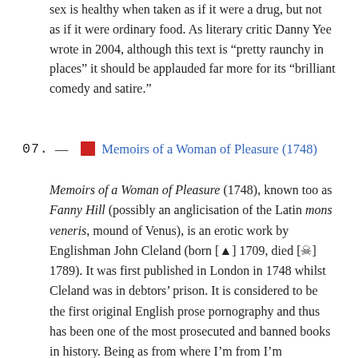sex is healthy when taken as if it were a drug, but not as if it were ordinary food. As literary critic Danny Yee wrote in 2004, although this text is “pretty raunchy in places” it should be applauded far more for its “brilliant comedy and satire.”
07. — [book icon] Memoirs of a Woman of Pleasure (1748)
Memoirs of a Woman of Pleasure (1748), known too as Fanny Hill (possibly an anglicisation of the Latin mons veneris, mound of Venus), is an erotic work by Englishman John Cleland (born [▲] 1709, died [☠] 1789). It was first published in London in 1748 whilst Cleland was in debtors’ prison. It is considered to be the first original English prose pornography and thus has been one of the most prosecuted and banned books in history. Being as from where I’m from I’m compelled, yes compelled in an utterly unstoppable way to write in support or as a retort: camel toe. In sum, Memoirs of a Woman of Pleasure (Fanny Hill) details the